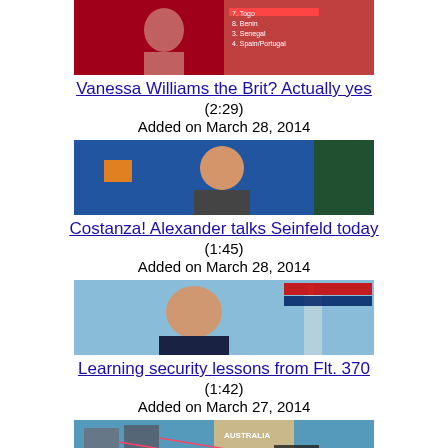[Figure (photo): Thumbnail image for Vanessa Williams video, showing a TV screenshot with Africa map/text overlay]
Vanessa Williams the Brit? Actually yes
(2:29)
Added on March 28, 2014
[Figure (photo): Thumbnail image for Costanza/Alexander Seinfeld video, showing a man in dark jacket smiling]
Costanza! Alexander talks Seinfeld today
(1:45)
Added on March 28, 2014
[Figure (photo): Thumbnail image for Flight 370 security lessons video, showing a man speaking in front of a city background]
Learning security lessons from Flt. 370
(1:42)
Added on March 27, 2014
[Figure (photo): Thumbnail image for plane wreckage debris video, showing a map of Australia with satellite imagery markers]
Debris is 'absolutely' plane wreckage
(2:50)